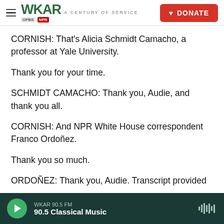WKAR A CENTURY OF SERVICE | DONATE
CORNISH: That's Alicia Schmidt Camacho, a professor at Yale University.
Thank you for your time.
SCHMIDT CAMACHO: Thank you, Audie, and thank you all.
CORNISH: And NPR White House correspondent Franco Ordoñez.
Thank you so much.
ORDOÑEZ: Thank you, Audie. Transcript provided
WKAR 90.5 FM | 90.5 Classical Music